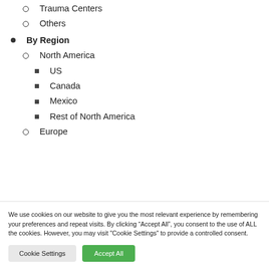Trauma Centers
Others
By Region
North America
US
Canada
Mexico
Rest of North America
Europe
We use cookies on our website to give you the most relevant experience by remembering your preferences and repeat visits. By clicking “Accept All”, you consent to the use of ALL the cookies. However, you may visit "Cookie Settings" to provide a controlled consent.